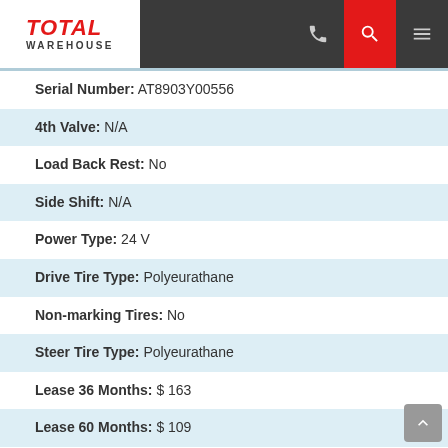Total Warehouse — navigation header with phone, search, and menu icons
Serial Number: AT8903Y00556
4th Valve: N/A
Load Back Rest: No
Side Shift: N/A
Power Type: 24 V
Drive Tire Type: Polyeurathane
Non-marking Tires: No
Steer Tire Type: Polyeurathane
Lease 36 Months: $ 163
Lease 60 Months: $ 109